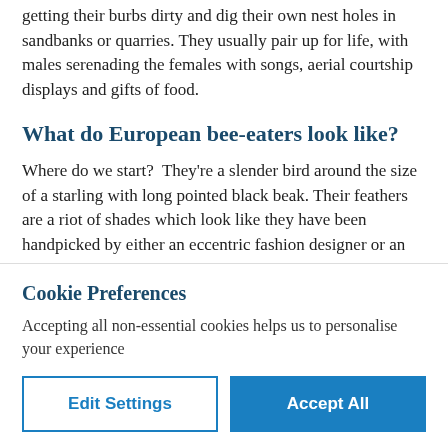getting their burbs dirty and dig their own nest holes in sandbanks or quarries. They usually pair up for life, with males serenading the females with songs, aerial courtship displays and gifts of food.
What do European bee-eaters look like?
Where do we start?  They're a slender bird around the size of a starling with long pointed black beak. Their feathers are a riot of shades which look like they have been handpicked by either an eccentric fashion designer or an imaginative five-year-old child. Bright bursts of
Cookie Preferences
Accepting all non-essential cookies helps us to personalise your experience
Edit Settings
Accept All